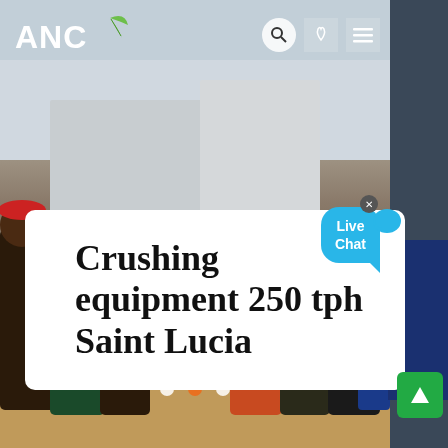ANC
[Figure (photo): Workers standing near crushing equipment on a construction/mining site with sandy ground. Industrial machinery visible in background. Sky visible at top.]
Crushing equipment 250 tph Saint Lucia
[Figure (other): Live Chat speech bubble button in blue with text 'Live Chat' and a close X button]
Carousel navigation dots — three dots, second (middle) dot is active/orange